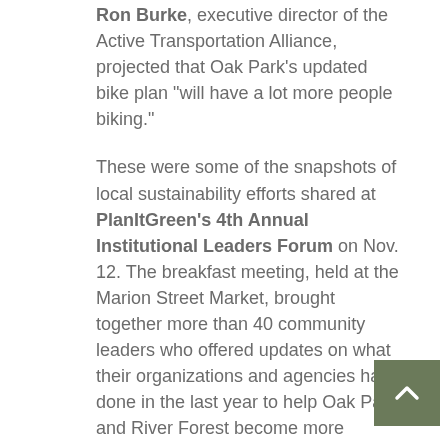Ron Burke, executive director of the Active Transportation Alliance, projected that Oak Park's updated bike plan "will have a lot more people biking."
These were some of the snapshots of local sustainability efforts shared at PlanItGreen's 4th Annual Institutional Leaders Forum on Nov. 12. The breakfast meeting, held at the Marion Street Market, brought together more than 40 community leaders who offered updates on what their organizations and agencies have done in the last year to help Oak Park and River Forest become more resilient communities as both villages continue to make progress on PlanItGreen's Environmental Sustainability Plan.
Following opening remarks and introductions by Gary Cuneen, Executive Director of Seven